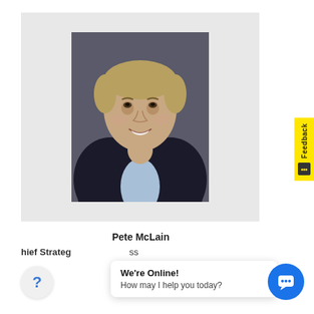[Figure (photo): Professional headshot of Pete McLain, a middle-aged man with sandy brown hair wearing a dark blazer and light blue shirt, smiling, photographed against a dark gray background. The photo is centered within a light gray card.]
Pete McLain
Chief Strategy Officer and VP of Business
Feedback
We're Online!
How may I help you today?